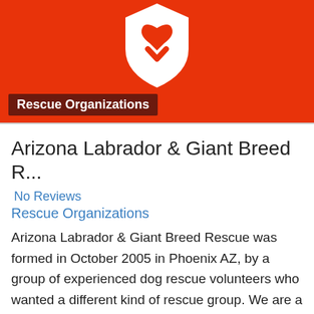[Figure (logo): Red banner header with white shield/heart icon and orange-red background]
Rescue Organizations
Arizona Labrador & Giant Breed R...
No Reviews
Rescue Organizations
Arizona Labrador & Giant Breed Rescue was formed in October 2005 in Phoenix AZ, by a group of experienced dog rescue volunteers who wanted a different kind of rescue group. We are a federally recognized charitable 501(c)3 organization (donations are tax-deductible). We are an all-volunteer, Read more...